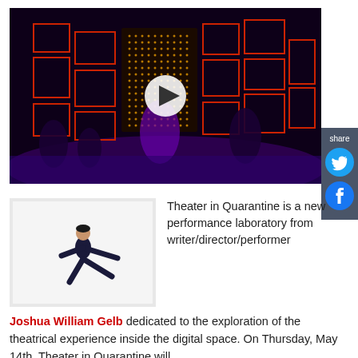[Figure (screenshot): Video thumbnail of a theater stage with dramatic red-lit box set and performers, with a white play button overlay in the center. Dark purple and black background.]
[Figure (photo): Black and white photo of a male performer (Joshua William Gelb) leaping/dancing against a white background, wearing dark clothing.]
Theater in Quarantine is a new performance laboratory from writer/director/performer Joshua William Gelb dedicated to the exploration of the theatrical experience inside the digital space. On Thursday, May 14th, Theater in Quarantine will